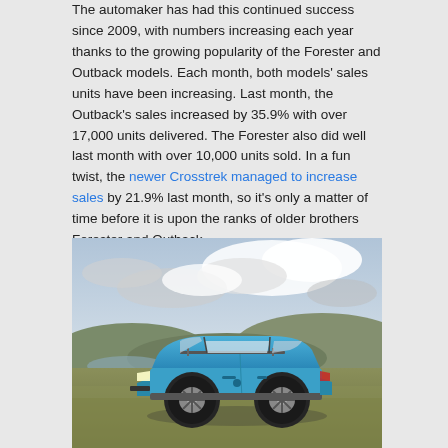The automaker has had this continued success since 2009, with numbers increasing each year thanks to the growing popularity of the Forester and Outback models. Each month, both models' sales units have been increasing. Last month, the Outback's sales increased by 35.9% with over 17,000 units delivered. The Forester also did well last month with over 10,000 units sold. In a fun twist, the newer Crosstrek managed to increase sales by 21.9% last month, so it's only a matter of time before it is upon the ranks of older brothers Forester and Outback.
[Figure (photo): A blue Subaru Crosstrek SUV parked on a grassy hill with a dramatic cloudy sky and hills/lake in the background]